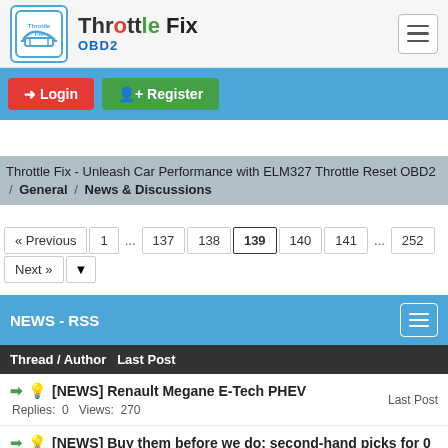Throttle Fix OBD2
Login  Register
Throttle Fix - Unleash Car Performance with ELM327 Throttle Reset OBD2 / General / News & Discussions
« Previous  1  ...  137  138  139  140  141  ...  252  Next »
NEWS - RSS
Thread / Author Last Post
[NEWS] Renault Megane E-Tech PHEV
Replies: 0  Views: 270
Last Post
[NEWS] Buy them before we do: second-hand picks for 0